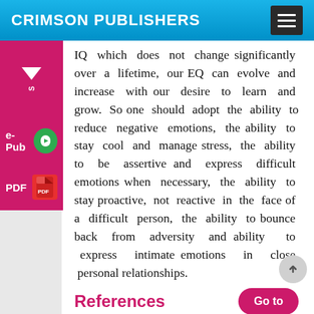CRIMSON PUBLISHERS
IQ which does not change significantly over a lifetime, our EQ can evolve and increase with our desire to learn and grow. So one should adopt the ability to reduce negative emotions, the ability to stay cool and manage stress, the ability to be assertive and express difficult emotions when necessary, the ability to stay proactive, not reactive in the face of a difficult person, the ability to bounce back from adversity and ability to express intimate emotions in close personal relationships.
References